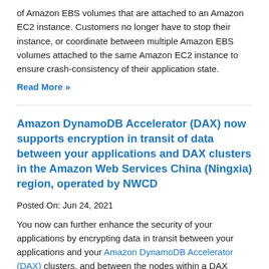of Amazon EBS volumes that are attached to an Amazon EC2 instance. Customers no longer have to stop their instance, or coordinate between multiple Amazon EBS volumes attached to the same Amazon EC2 instance to ensure crash-consistency of their application state.
Read More »
Amazon DynamoDB Accelerator (DAX) now supports encryption in transit of data between your applications and DAX clusters in the Amazon Web Services China (Ningxia) region, operated by NWCD
Posted On: Jun 24, 2021
You now can further enhance the security of your applications by encrypting data in transit between your applications and your Amazon DynamoDB Accelerator (DAX) clusters, and between the nodes within a DAX cluster. To use this new feature, enable encryption in transit when creating a DAX cluster and use the latest